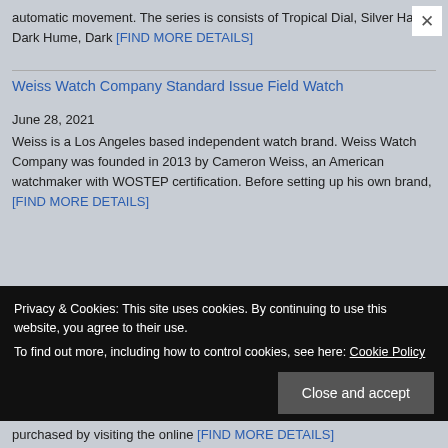automatic movement. The series is consists of Tropical Dial, Silver Haze, Dark Hume, Dark [FIND MORE DETAILS]
Weiss Watch Company Standard Issue Field Watch
June 28, 2021
Weiss is a Los Angeles based independent watch brand. Weiss Watch Company was founded in 2013 by Cameron Weiss, an American watchmaker with WOSTEP certification. Before setting up his own brand, [FIND MORE DETAILS]
Privacy & Cookies: This site uses cookies. By continuing to use this website, you agree to their use.
To find out more, including how to control cookies, see here: Cookie Policy
purchased by visiting the online [FIND MORE DETAILS]